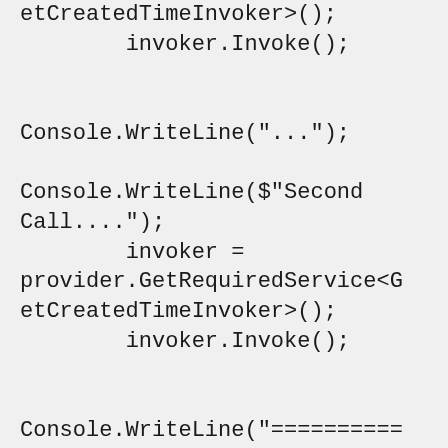etCreatedTimeInvoker>();
        invoker.Invoke();


Console.WriteLine("...");

Console.WriteLine($"Second Call....");
        invoker = provider.GetRequiredService<GetCreatedTimeInvoker>();
        invoker.Invoke();


Console.WriteLine("=============================================================================================");
        Console.WriteLine();
        Console.WriteLine();
        Console.WriteLine();
    }